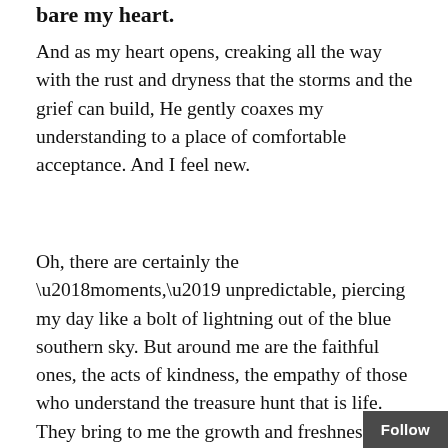bare my heart.
And as my heart opens, creaking all the way with the rust and dryness that the storms and the grief can build, He gently coaxes my understanding to a place of comfortable acceptance. And I feel new.
Oh, there are certainly the ‘moments,’ unpredictable, piercing my day like a bolt of lightning out of the blue southern sky. But around me are the faithful ones, the acts of kindness, the empathy of those who understand the treasure hunt that is life. They bring to me the growth and freshness of friendship, love and a new future. It’s held out in their hands like a silver platter, my cho